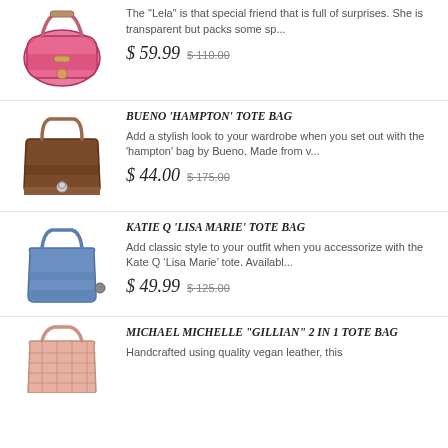[Figure (photo): Pink transparent handbag (Lela)]
The "Lela" is that special friend that is full of surprises. She is transparent but packs some sp...
$ 59.99  $ 110.00
BUENO 'HAMPTON' TOTE BAG
[Figure (photo): Brown leather tote bag (Bueno Hampton)]
Add a stylish look to your wardrobe when you set out with the 'hampton' bag by Bueno. Made from v...
$ 44.00  $ 175.00
KATIE Q 'LISA MARIE' TOTE BAG
[Figure (photo): Blue tote bag (Katie Q Lisa Marie)]
Add classic style to your outfit when you accessorize with the Kate Q ‘Lisa Marie’ tote. Availabl...
$ 49.99  $ 125.00
MICHAEL MICHELLE "GILLIAN" 2 IN 1 TOTE BAG
[Figure (photo): Pink woven tote bag (Michael Michelle Gillian)]
Handcrafted using quality vegan leather, this